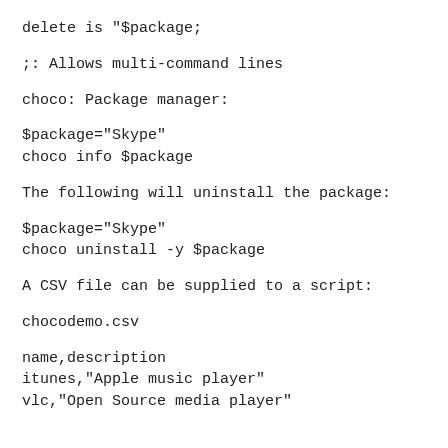delete is "$package;
;: Allows multi-command lines
choco: Package manager:
$package="Skype"
choco info $package
The following will uninstall the package:
$package="Skype"
choco uninstall -y $package
A CSV file can be supplied to a script:
chocodemo.csv
name,description
itunes,"Apple music player"
vlc,"Open Source media player"